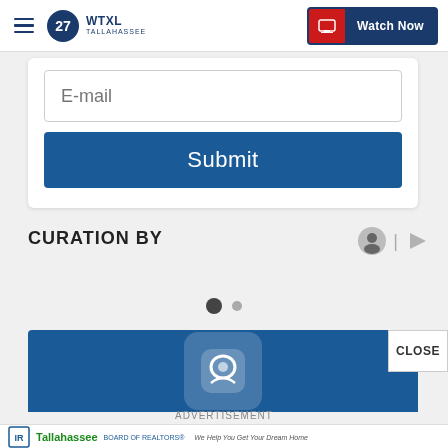WTXL Tallahassee — Watch Now
[Figure (screenshot): Email input field with placeholder text E-mail]
[Figure (screenshot): Submit button in dark blue]
CURATION BY
[Figure (other): Curation by icons — face and arrow logo]
[Figure (other): Carousel dots indicator — one filled, one empty]
[Figure (other): Blue banner with rounded icon logo area, CLOSE button overlay]
ADVERTISEMENT
[Figure (other): Tallahassee Board of REALTORS advertisement banner — We Help You Get Your Dream Home]